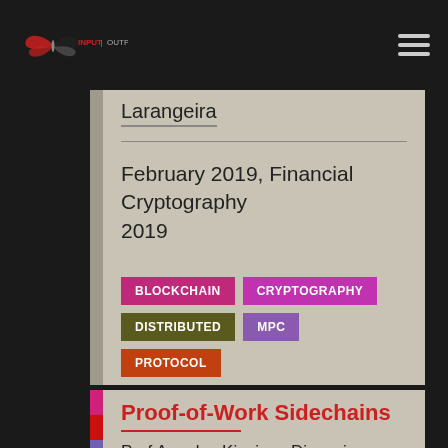INPUT | OUTPUT
Larangeira
February 2019, Financial Cryptography 2019
BLOCKCHAIN
CRYPTOGRAPHY
DISTRIBUTED
MPC
PROTOCOL
Proof-of-Work Sidechains
Prof Aggelos Kiayias, Dionysis Zindros